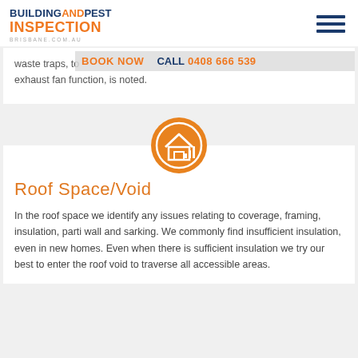BUILDING AND PEST INSPECTION BRISBANE.COM.AU
waste traps, to... exhaust fan function, is noted.
BOOK NOW   CALL 0408 666 539
[Figure (illustration): Orange circle icon with a house/roof and signal bars graphic]
Roof Space/Void
In the roof space we identify any issues relating to coverage, framing, insulation, parti wall and sarking. We commonly find insufficient insulation, even in new homes. Even when there is sufficient insulation we try our best to enter the roof void to traverse all accessible areas.